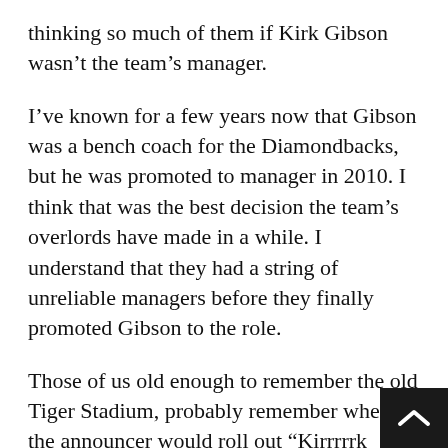thinking so much of them if Kirk Gibson wasn't the team's manager.
I've known for a few years now that Gibson was a bench coach for the Diamondbacks, but he was promoted to manager in 2010. I think that was the best decision the team's overlords have made in a while. I understand that they had a string of unreliable managers before they finally promoted Gibson to the role.
Those of us old enough to remember the old Tiger Stadium, probably remember when the announcer would roll out “Kirrrrrk Gibson!” as Gibson stepped up to the plate. The man was a hero as a player, but he was also an excellent team leader. Remember the 1988 season when Gibson was playing for the Dodgers? The Dodgers did not do so well the season before, but when Gibson came to the team he inspired a winning attitude in the players. The Dodgers went on to win the